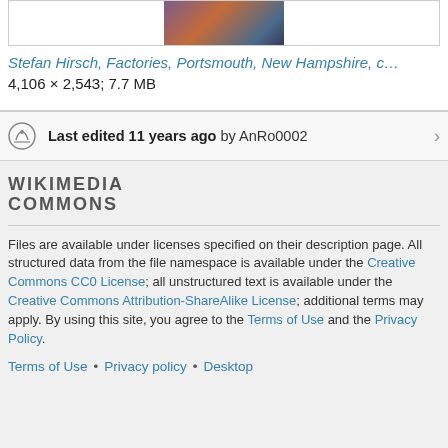[Figure (photo): Partial image of painting - Stefan Hirsch, Factories, Portsmouth, New Hampshire]
Stefan Hirsch, Factories, Portsmouth, New Hampshire, c...
4,106 × 2,543; 7.7 MB
Last edited 11 years ago by AnRo0002
[Figure (logo): Wikimedia Commons logo text]
Files are available under licenses specified on their description page. All structured data from the file namespace is available under the Creative Commons CC0 License; all unstructured text is available under the Creative Commons Attribution-ShareAlike License; additional terms may apply. By using this site, you agree to the Terms of Use and the Privacy Policy.
Terms of Use • Privacy policy • Desktop